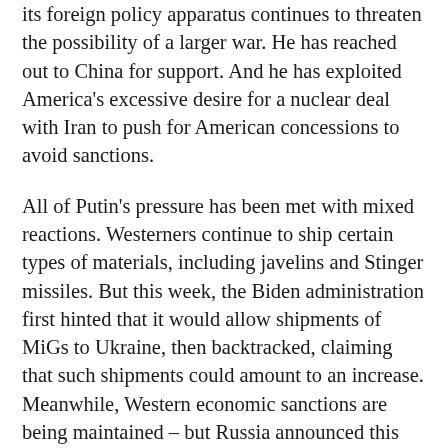its foreign policy apparatus continues to threaten the possibility of a larger war. He has reached out to China for support. And he has exploited America's excessive desire for a nuclear deal with Iran to push for American concessions to avoid sanctions.
All of Putin's pressure has been met with mixed reactions. Westerners continue to ship certain types of materials, including javelins and Stinger missiles. But this week, the Biden administration first hinted that it would allow shipments of MiGs to Ukraine, then backtracked, claiming that such shipments could amount to an increase. Meanwhile, Western economic sanctions are being maintained – but Russia announced this week that the United States has given a written waiver that would allow Russia to trade with Iran, even though Iran has fired missiles at the US consulate in Irbil, Iraq.